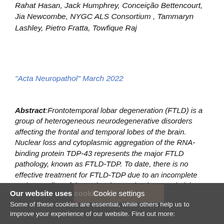Rahat Hasan, Jack Humphrey, Conceição Bettencourt, Jia Newcombe, NYGC ALS Consortium , Tammaryn Lashley, Pietro Fratta, Towfique Raj
"Acta Neuropathol" March 2022
Abstract:Frontotemporal lobar degeneration (FTLD) is a group of heterogeneous neurodegenerative disorders affecting the frontal and temporal lobes of the brain. Nuclear loss and cytoplasmic aggregation of the RNA-binding protein TDP-43 represents the major FTLD pathology, known as FTLD-TDP. To date, there is no effective treatment for FTLD-TDP due to an incomplete understanding of the molecular mechanisms underlying disease development. Here we compared post[...]NA-seq
Cookie settings
Our website uses cookies
Some of these cookies are essential, while others help us to improve your experience of our website. Find out more: